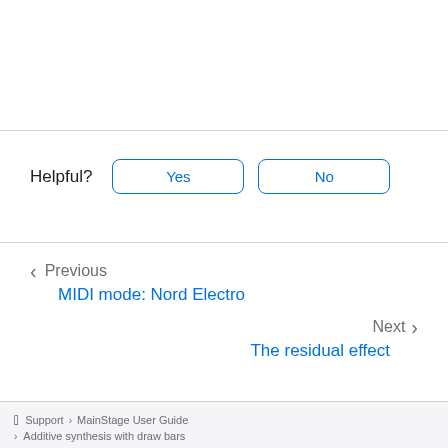Helpful? Yes No
< Previous
MIDI mode: Nord Electro
Next >
The residual effect
Apple logo  Support  >  MainStage User Guide
>  Additive synthesis with draw bars